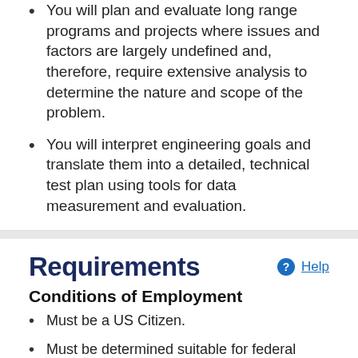You will plan and evaluate long range programs and projects where issues and factors are largely undefined and, therefore, require extensive analysis to determine the nature and scope of the problem.
You will interpret engineering goals and translate them into a detailed, technical test plan using tools for data measurement and evaluation.
Requirements
Conditions of Employment
Must be a US Citizen.
Must be determined suitable for federal employment.
Must participate in the direct deposit pay program.
New employees to the Department of the Navy will be required to successfully pass the E-Verify employment